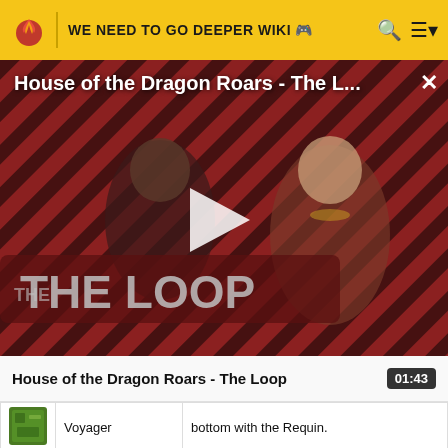WE NEED TO GO DEEPER WIKI
[Figure (screenshot): Video player showing 'House of the Dragon Roars - The L...' with a play button overlay. The thumbnail shows two characters from House of the Dragon with diagonal stripe pattern background and 'THE LOOP' text overlay.]
House of the Dragon Roars - The Loop | 01:43
| Icon | Name | Description |
| --- | --- | --- |
| [green icon] | Voyager | bottom with the Requin. |
| [olive icon] | Perle Voyager | Reach the |